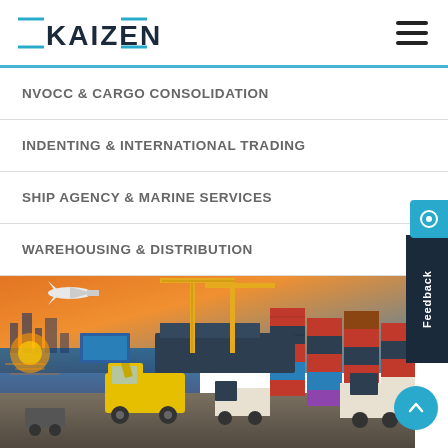KAIZEN
NVOCC & CARGO CONSOLIDATION
INDENTING & INTERNATIONAL TRADING
SHIP AGENCY & MARINE SERVICES
WAREHOUSING & DISTRIBUTION
[Figure (photo): Port logistics scene with shipping containers, yellow reach stacker crane, cargo ships, trucks, and an airplane in the sky at dusk/sunset.]